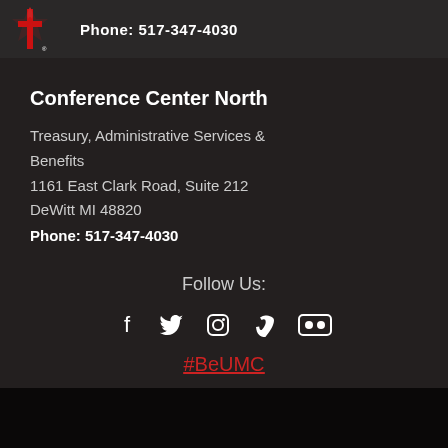[Figure (logo): UMC cross/flame logo in red, with registered trademark symbol]
Phone: 517-347-4030
Conference Center North
Treasury, Administrative Services & Benefits
1161 East Clark Road, Suite 212
DeWitt MI 48820
Phone: 517-347-4030
Follow Us:
[Figure (infographic): Social media icons: Facebook, Twitter, Instagram, Vimeo, Flickr]
#BeUMC